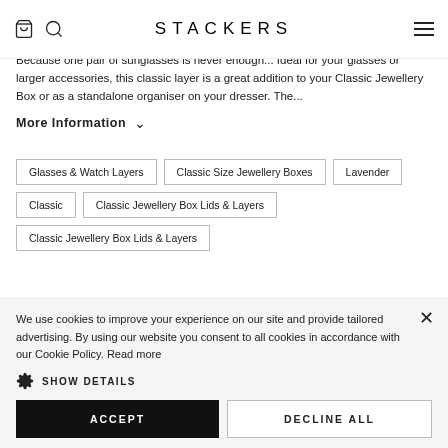STACKERS
Because one pair of sunglasses is never enough... Ideal for your glasses or larger accessories, this classic layer is a great addition to your Classic Jewellery Box or as a standalone organiser on your dresser. The...
More Information
Glasses & Watch Layers
Classic Size Jewellery Boxes
Lavender
Classic
Classic Jewellery Box Lids & Layers
Classic Jewellery Box Lids & Layers
We use cookies to improve your experience on our site and provide tailored advertising. By using our website you consent to all cookies in accordance with our Cookie Policy. Read more
SHOW DETAILS
ACCEPT
DECLINE ALL